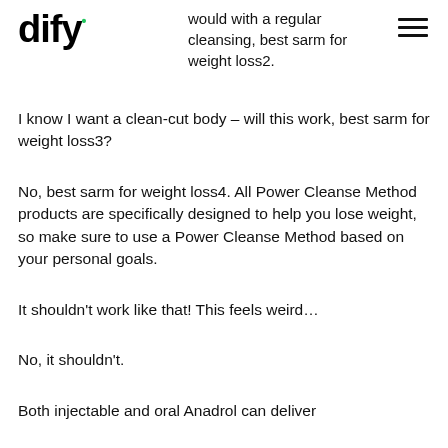would with a regular cleansing, best sarm for weight loss2.
I know I want a clean-cut body – will this work, best sarm for weight loss3?
No, best sarm for weight loss4. All Power Cleanse Method products are specifically designed to help you lose weight, so make sure to use a Power Cleanse Method based on your personal goals.
It shouldn't work like that! This feels weird…
No, it shouldn't.
Both injectable and oral Anadrol can deliver